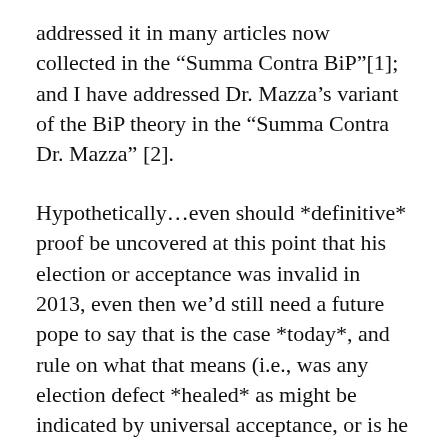addressed it in many articles now collected in the “Summa Contra BiP”[1]; and I have addressed Dr. Mazza’s variant of the BiP theory in the “Summa Contra Dr. Mazza” [2].
Hypothetically…even should *definitive* proof be uncovered at this point that his election or acceptance was invalid in 2013, even then we’d still need a future pope to say that is the case *today*, and rule on what that means (i.e., was any election defect *healed* as might be indicated by universal acceptance, or is he not a true pope due to the specific nature of the defect). Personally, I wouldn’t hold my breath any of this will happen.